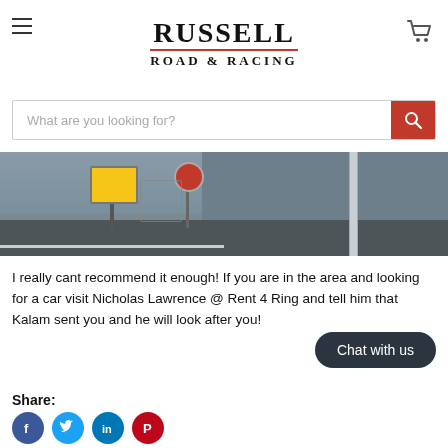RUSSELL ROAD & RACING
[Figure (screenshot): Search bar with red search button and placeholder text 'What are you looking for?']
[Figure (photo): Outdoor photo showing a building wall, road markings, yellow road signs, and a drainpipe]
I really cant recommend it enough! If you are in the area and looking for a car visit Nicholas Lawrence @ Rent 4 Ring and tell him that Kalam sent you and he will look after you!
Share: